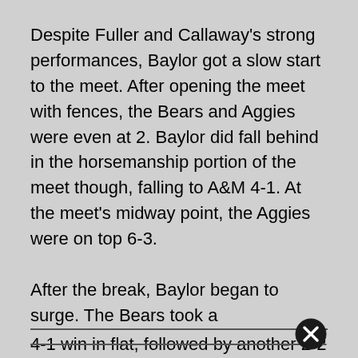Despite Fuller and Callaway's strong performances, Baylor got a slow start to the meet. After opening the meet with fences, the Bears and Aggies were even at 2. Baylor did fall behind in the horsemanship portion of the meet though, falling to A&M 4-1. At the meet's midway point, the Aggies were on top 6-3.
After the break, Baylor began to surge. The Bears took a 4-1 win in flat, followed by another 2-2 tie in reigning, in which Callaway had a 74 point outing.
As impressive as Baylor's comeback attempt was, it wouldn't be enough for the tiebreaker, moving the Bears to 7-15 all time against the Aggies.
Baylor will be back in the saddle for a meet with No. 8 TCU on Feb. 6 at Baylor's Willis Family Equestrian Center.